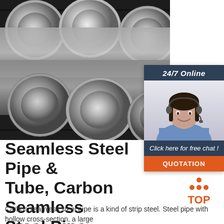[Figure (photo): Black and white photo of multiple polished steel round bars/rods stacked together, showing circular cross-sections]
[Figure (infographic): Online chat widget with '24/7 Online' header in dark blue, photo of female customer service agent with headset, 'Click here for free chat!' text, and orange QUOTATION button]
Seamless Steel Pipe & Tube, Carbon Seamless Steel Pipe ...
[Figure (logo): TOP logo with orange dots forming a triangle above the word TOP in orange]
Carbon seamless steel pipe is a kind of strip steel. Steel pipe with hollow cross-section, a large